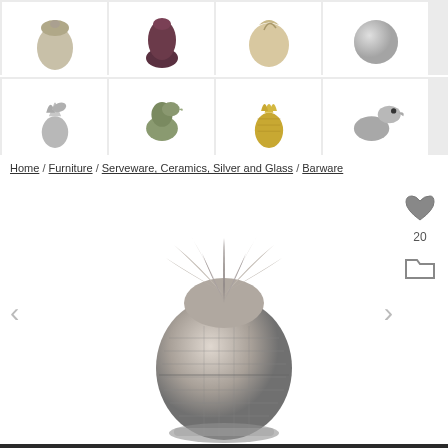[Figure (photo): Top row of four product thumbnail images: decorative objects including what appears to be an acorn/pine cone shape, a dark vase, a bird/feather form, and a silver textured sphere]
[Figure (photo): Second row of four product thumbnail images: silver pineapple with bird/leaf top, green duck-shaped container, gold pineapple ice bucket, silver duck-shaped object]
Home / Furniture / Serveware, Ceramics, Silver and Glass / Barware
[Figure (photo): Large silver metallic pineapple ice bucket with detailed textured surface and ornate leaf crown, shown as main product image with left/right navigation arrows and sidebar showing heart icon with count 20 and folder icon]
Free Shipping on Jewelry, Art, Fashion, Decor with code FREESHIP Exclusions apply. Detail...